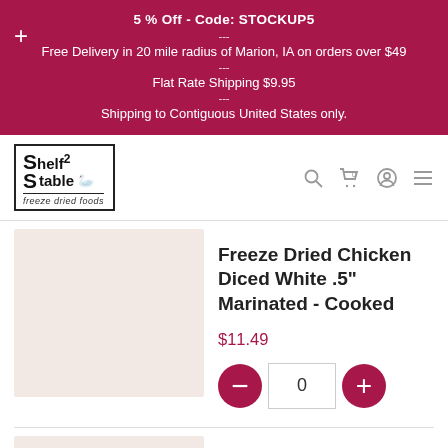5 % Off - Code: STOCKUP5
---
Free Delivery in 20 mile radius of Marion, IA on orders over $49
---
Flat Rate Shipping $9.95
---
Shipping to Contiguous United States only.
[Figure (logo): Shelf2Table freeze dried foods logo with bird icon inside a bordered box]
Freeze Dried Chicken Diced White .5" Marinated - Cooked
$11.49
0